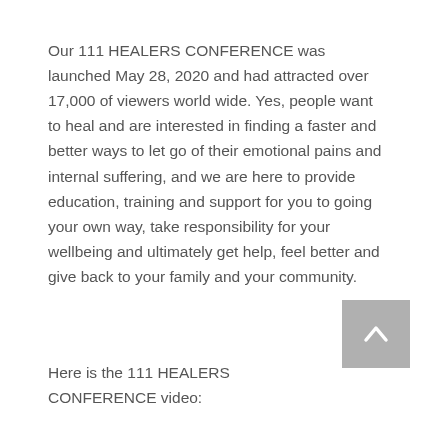Our 111 HEALERS CONFERENCE was launched May 28, 2020 and had attracted over 17,000 of viewers world wide. Yes, people want to heal and are interested in finding a faster and better ways to let go of their emotional pains and internal suffering, and we are here to provide education, training and support for you to going your own way, take responsibility for your wellbeing and ultimately get help, feel better and give back to your family and your community.
Here is the 111 HEALERS CONFERENCE video: